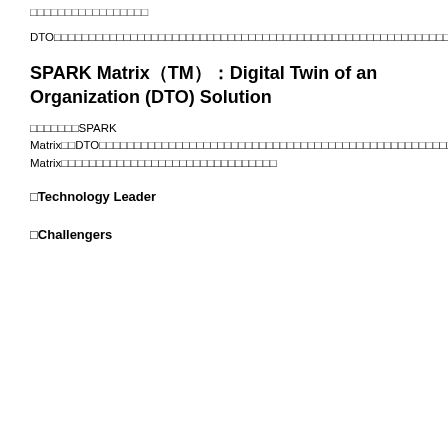□□□□□□□□□□□□□□□□□
DTO□□□□□□□□□□□□□□□□□□□□□□□□□□□□□□□□□□□□□□□□□□□□□□□□□□□□□□□□□□□□□□□□□□□□□□□□□□□□□DTO□□□□□□□□□□□□□□□□□□□□□□□□□□□□□□□□□□□□□□□□□□□□□□□□□□□□□□□□□□□□□□□□□□□□□□□□□□□□□□□□□□□□□DTO□□□□□□□□□□□□□□□□□□□□□□□□□□□□□□□□□□□□□□□□□□□□□□□□□□□□□□□□□□□□□□□□□□
SPARK Matrix（TM）：Digital Twin of an Organization (DTO) Solution
□□□□□□□SPARK Matrix□□DTO□□□□□□□□□□□□□□□□□□□□□□□□□□□□□□□□□□□□□□□□□□□□□□□□□□□□□□□□□□□□□□□□□□□□□□□□□□□□□□□16□□□□SPARK Matrix□□□□□□□□□□□□□□□□□□□□□□□□□□□□□□□
□Technology Leader
□Challengers